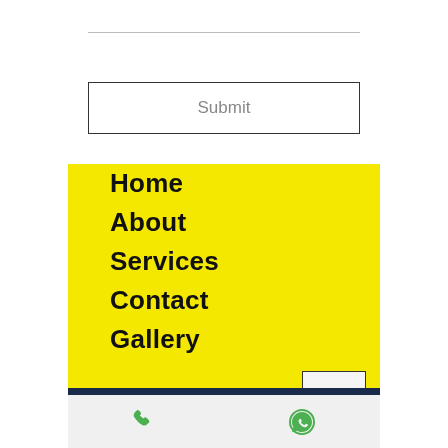[Figure (screenshot): Top horizontal divider line]
Submit
Home
About
Services
Contact
Gallery
[Figure (screenshot): Up arrow navigation button (chevron up) in a box, located bottom-right of yellow nav panel]
[Figure (screenshot): Dark navy horizontal bar below the yellow panel]
[Figure (screenshot): Bottom bar with green phone icon (left) and green WhatsApp icon (right)]